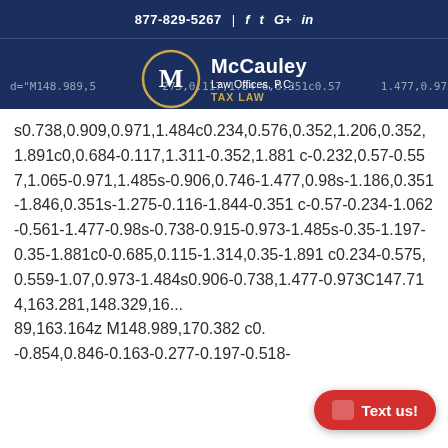877-829-5267 | f t G+ in
[Figure (logo): McCauley Law Offices, P.C. TAX LAW logo with circular M emblem in gold and white on dark blue background]
d="M148.989,5...275,0.117,1.84-6,0.351c0.57...1.477,0.973-s0.738,0.909,0.971,1.484c0.234,0.576,0.352,1.206,0.352,1.891c0,0.684-0.117,1.311-0.352,1.881 c-0.232,0.57-0.557,1.065-0.971,1.485s-0.906,0.746-1.477,0.98s-1.186,0.351-1.846,0.351s-1.275-0.116-1.844-0.351 c-0.57-0.234-1.062-0.561-1.477-0.98s-0.738-0.915-0.973-1.485s-0.35-1.197-0.35-1.881c0-0.685,0.115-1.314,0.35-1.891 c0.234-0.575,0.559-1.07,0.973-1.484s0.906-0.738,1.477-0.973C147.714,163.281,148.329,16...89,163.164z M148.989,170.382 c0.2...-0.854,0.846-0.163-0.277-0.197-0.518-